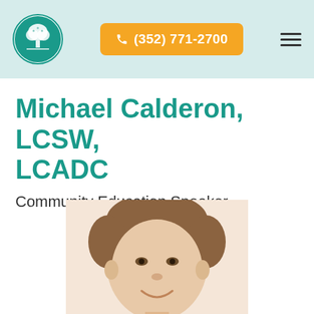(352) 771-2700
Michael Calderon, LCSW, LCADC
Community Education Speaker
[Figure (photo): Headshot photo of Michael Calderon, a middle-aged man with short brown hair, smiling, wearing a light-colored shirt, photographed from roughly the shoulders up against a white background.]